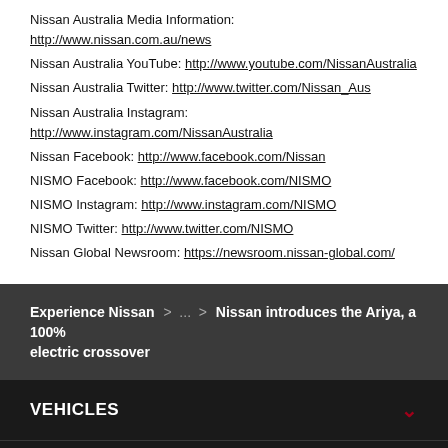Nissan Australia Media Information: http://www.nissan.com.au/news
Nissan Australia YouTube: http://www.youtube.com/NissanAustralia
Nissan Australia Twitter: http://www.twitter.com/Nissan_Aus
Nissan Australia Instagram: http://www.instagram.com/NissanAustralia
Nissan Facebook: http://www.facebook.com/Nissan
NISMO Facebook: http://www.facebook.com/NISMO
NISMO Instagram: http://www.instagram.com/NISMO
NISMO Twitter: http://www.twitter.com/NISMO
Nissan Global Newsroom: https://newsroom.nissan-global.com/
Experience Nissan > ... > Nissan introduces the Ariya, a 100% electric crossover
VEHICLES
SHOP@HOME
EXPERIENCE NISSAN